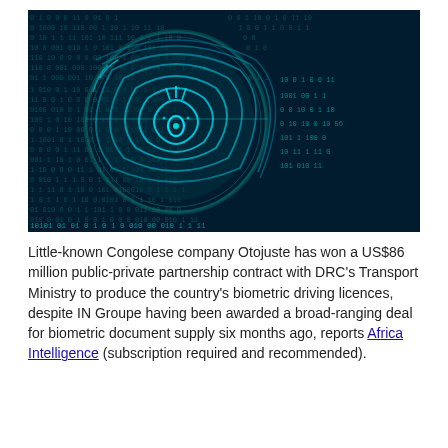[Figure (illustration): Digital fingerprint illustration on a dark teal/navy background filled with binary digits (0s and 1s), with a glowing cyan/blue circular fingerprint scan icon in the center-left area.]
Little-known Congolese company Otojuste has won a US$86 million public-private partnership contract with DRC's Transport Ministry to produce the country's biometric driving licences, despite IN Groupe having been awarded a broad-ranging deal for biometric document supply six months ago, reports Africa Intelligence (subscription required and recommended).